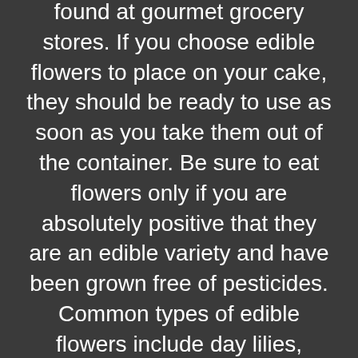found at gourmet grocery stores. If you choose edible flowers to place on your cake, they should be ready to use as soon as you take them out of the container. Be sure to eat flowers only if you are absolutely positive that they are an edible variety and have been grown free of pesticides. Common types of edible flowers include day lilies, dianthus, lilacs, pansies and roses.
Other types of flowers are toxic. Common toxic flowers used for weddings are calla lilies, hyacinths, lilies of the valley, tulips.